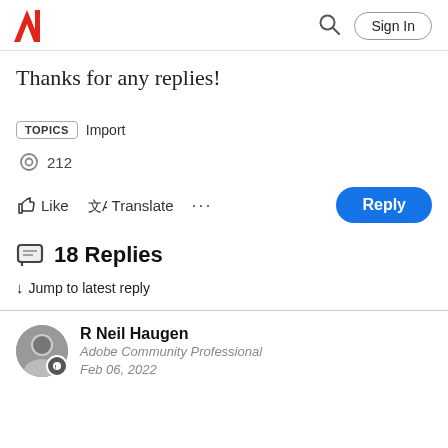Adobe Sign In
Thanks for any replies!
TOPICS  Import
212
Like  Translate  ...  Reply
18 Replies
↓ Jump to latest reply
R Neil Haugen
Adobe Community Professional
Feb 06, 2022